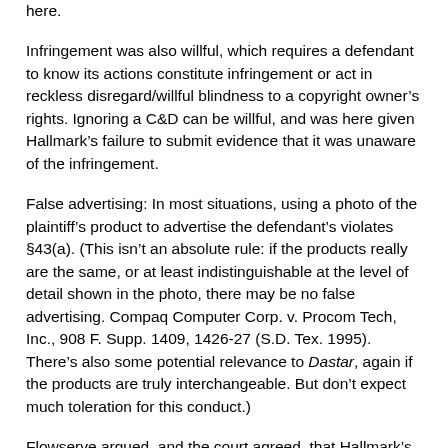here.
Infringement was also willful, which requires a defendant to know its actions constitute infringement or act in reckless disregard/willful blindness to a copyright owner's rights. Ignoring a C&D can be willful, and was here given Hallmark's failure to submit evidence that it was unaware of the infringement.
False advertising: In most situations, using a photo of the plaintiff's product to advertise the defendant's violates §43(a). (This isn't an absolute rule: if the products really are the same, or at least indistinguishable at the level of detail shown in the photo, there may be no false advertising. Compaq Computer Corp. v. Procom Tech, Inc., 908 F. Supp. 1409, 1426-27 (S.D. Tex. 1995). There's also some potential relevance to Dastar, again if the products are truly interchangeable. But don't expect much toleration for this conduct.)
Flowserve argued, and the court agreed, that Hallmark's photos were literally false representations about the nature and quality of its products. Hallmark submitted some evidence